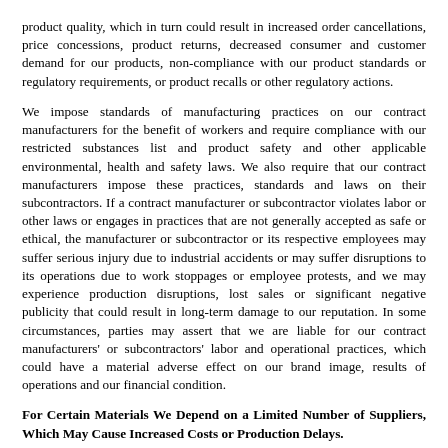product quality, which in turn could result in increased order cancellations, price concessions, product returns, decreased consumer and customer demand for our products, non-compliance with our product standards or regulatory requirements, or product recalls or other regulatory actions.
We impose standards of manufacturing practices on our contract manufacturers for the benefit of workers and require compliance with our restricted substances list and product safety and other applicable environmental, health and safety laws. We also require that our contract manufacturers impose these practices, standards and laws on their subcontractors. If a contract manufacturer or subcontractor violates labor or other laws or engages in practices that are not generally accepted as safe or ethical, the manufacturer or subcontractor or its respective employees may suffer serious injury due to industrial accidents or may suffer disruptions to its operations due to work stoppages or employee protests, and we may experience production disruptions, lost sales or significant negative publicity that could result in long-term damage to our reputation. In some circumstances, parties may assert that we are liable for our contract manufacturers' or subcontractors' labor and operational practices, which could have a material adverse effect on our brand image, results of operations and our financial condition.
For Certain Materials We Depend on a Limited Number of Suppliers, Which May Cause Increased Costs or Production Delays.
Some of the materials that are used in our products may be available from only one source or a very limited number of sources. For example, some specialty fabrics are manufactured to our specification by one